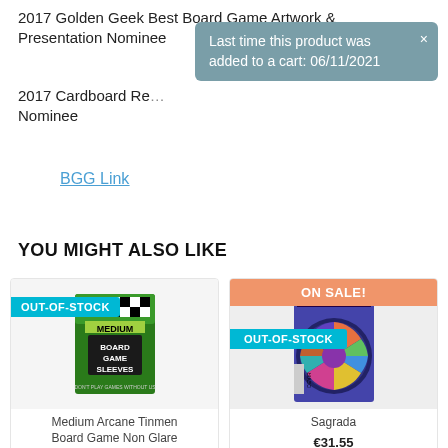2017 Golden Geek Best Board Game Artwork & Presentation Nominee
[Figure (screenshot): Tooltip/popup overlay with grey-blue background reading: 'Last time this product was added to a cart: 06/11/2021' with an X close button]
2017 Cardboard Republic [something] Nominee
BGG Link
YOU MIGHT ALSO LIKE
[Figure (photo): Product image of Medium Arcane Tinmen Board Game Non Glare sleeves box with OUT-OF-STOCK badge]
Medium Arcane Tinmen Board Game Non Glare
[Figure (photo): Product image of Sagrada board game box with ON SALE! and OUT-OF-STOCK badges]
Sagrada
€31.55